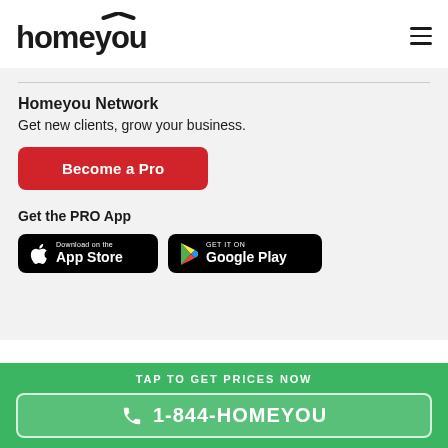[Figure (logo): Homeyou logo with stylized house/roof accent over the letter 'u']
[Figure (other): Hamburger menu icon (three horizontal lines)]
Homeyou Network
Get new clients, grow your business.
[Figure (other): Red 'Become a Pro' button]
Get the PRO App
[Figure (other): App Store and Google Play download badges]
TAP TO GET PRICES NOW
1-844-HOMEYOU